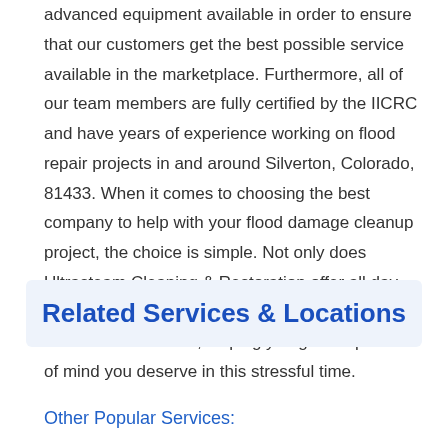advanced equipment available in order to ensure that our customers get the best possible service available in the marketplace. Furthermore, all of our team members are fully certified by the IICRC and have years of experience working on flood repair projects in and around Silverton, Colorado, 81433. When it comes to choosing the best company to help with your flood damage cleanup project, the choice is simple. Not only does Ultrasteam Cleaning & Restoration offer all day, every day services, but we are also fully licensed, certified and insured, helping you get the peace of mind you deserve in this stressful time.
Related Services & Locations
Other Popular Services: